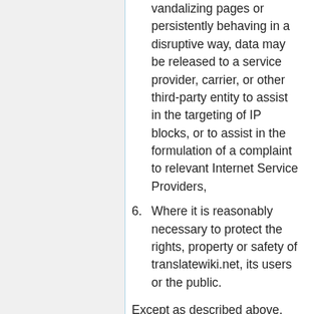vandalizing pages or persistently behaving in a disruptive way, data may be released to a service provider, carrier, or other third-party entity to assist in the targeting of IP blocks, or to assist in the formulation of a complaint to relevant Internet Service Providers,
6. Where it is reasonably necessary to protect the rights, property or safety of translatewiki.net, its users or the public.
Except as described above, translatewiki.net policy does not permit distribution of personally identifiable information under any circumstances.
Third-party access and notifying registered users when receiving legal